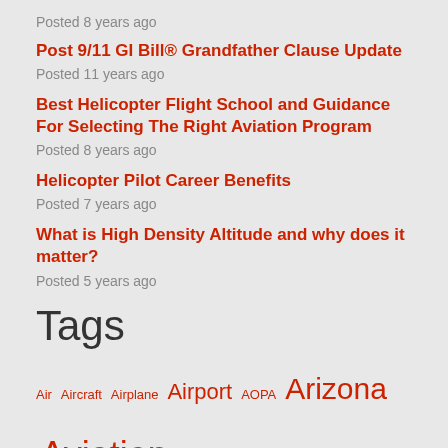Posted 8 years ago
Post 9/11 GI Bill® Grandfather Clause Update
Posted 11 years ago
Best Helicopter Flight School and Guidance For Selecting The Right Aviation Program
Posted 8 years ago
Helicopter Pilot Career Benefits
Posted 7 years ago
What is High Density Altitude and why does it matter?
Posted 5 years ago
Tags
Air Aircraft Airplane Airport AOPA Arizona Aviation AZ Baton Rouge Career Cirrus faa flight flight training GI Bill®